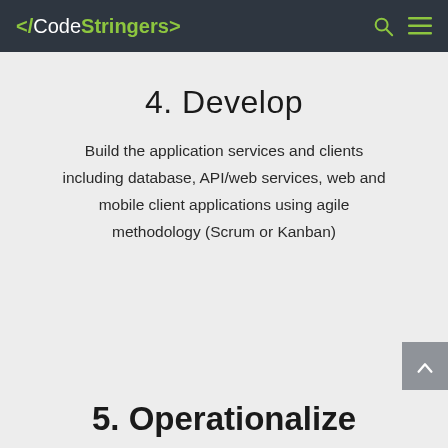</CodeStringers>
4. Develop
Build the application services and clients including database, API/web services, web and mobile client applications using agile methodology (Scrum or Kanban)
5. Operationalize